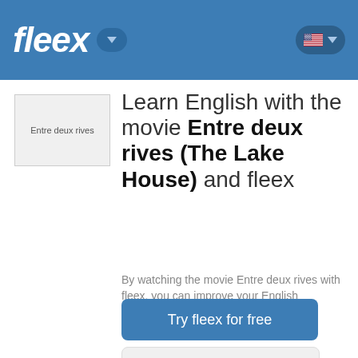fleex
[Figure (screenshot): Movie thumbnail placeholder for Entre deux rives]
Learn English with the movie Entre deux rives (The Lake House) and fleex
By watching the movie Entre deux rives with fleex, you can improve your English effortlessly
Try fleex for free
Back to movies list